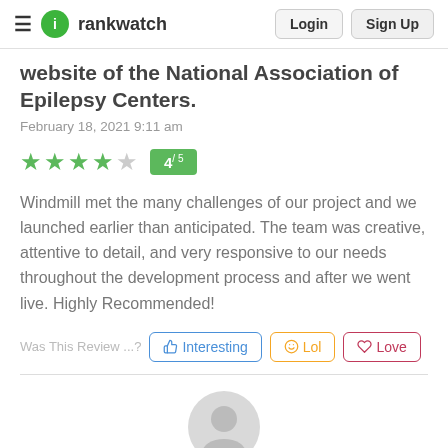rankwatch — Login | Sign Up
website of the National Association of Epilepsy Centers.
February 18, 2021 9:11 am
[Figure (infographic): 4 filled green stars and 1 empty star, with a green badge showing 4/5]
Windmill met the many challenges of our project and we launched earlier than anticipated. The team was creative, attentive to detail, and very responsive to our needs throughout the development process and after we went live. Highly Recommended!
Was This Review ...?
[Figure (infographic): Grey avatar/profile icon circle at bottom of page]